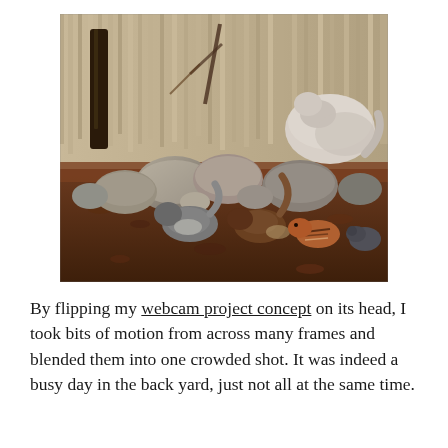[Figure (photo): Outdoor backyard scene with rocks, fallen leaves, wooden fence in background. Multiple animals visible including squirrels, a chipmunk, and what appears to be a cat or possum on the rocks. A composite/blended photograph showing motion from many frames.]
By flipping my webcam project concept on its head, I took bits of motion from across many frames and blended them into one crowded shot. It was indeed a busy day in the back yard, just not all at the same time.